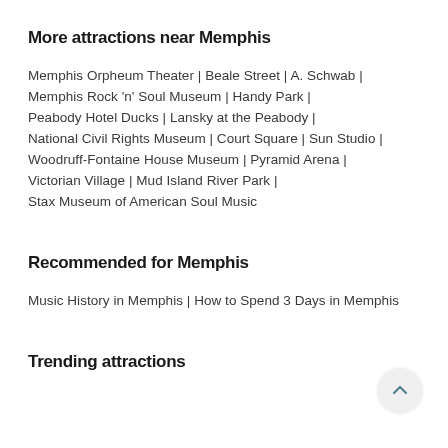More attractions near Memphis
Memphis Orpheum Theater | Beale Street | A. Schwab | Memphis Rock 'n' Soul Museum | Handy Park | Peabody Hotel Ducks | Lansky at the Peabody | National Civil Rights Museum | Court Square | Sun Studio | Woodruff-Fontaine House Museum | Pyramid Arena | Victorian Village | Mud Island River Park | Stax Museum of American Soul Music
Recommended for Memphis
Music History in Memphis | How to Spend 3 Days in Memphis
Trending attractions